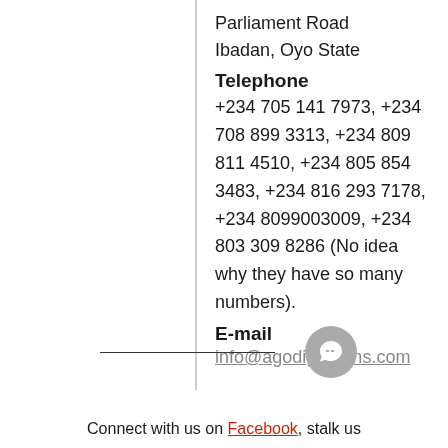Parliament Road
Ibadan, Oyo State
Telephone
+234 705 141 7973, +234 708 899 3313, +234 809 811 4510, +234 805 854 3483, +234 816 293 7178, +234 8099003009, +234 803 309 8286 (No idea why they have so many numbers).
E-mail
info@agodigardens.com
Connect with us on Facebook, stalk us